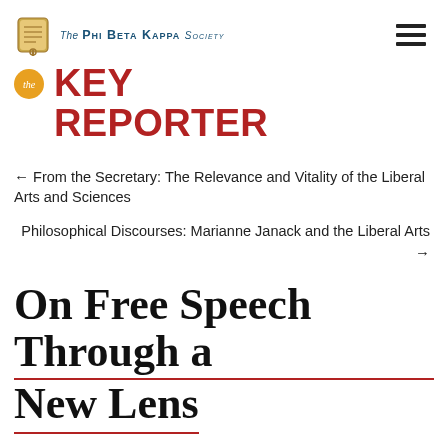The Phi Beta Kappa Society
KEY REPORTER
← From the Secretary: The Relevance and Vitality of the Liberal Arts and Sciences
Philosophical Discourses: Marianne Janack and the Liberal Arts →
On Free Speech Through a New Lens